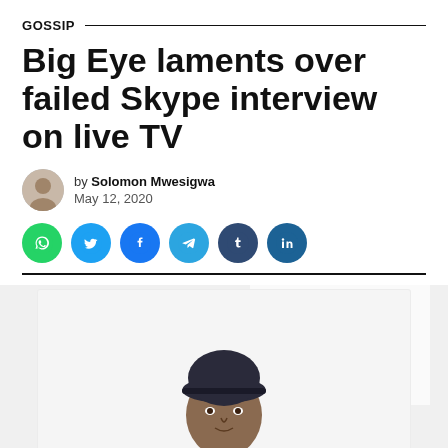GOSSIP
Big Eye laments over failed Skype interview on live TV
by Solomon Mwesigwa
May 12, 2020
[Figure (other): Social share buttons: WhatsApp, Twitter, Facebook, Telegram, Tumblr, LinkedIn]
[Figure (photo): Photo of Big Eye, a man wearing a dark beret/cap, against a white/light background]